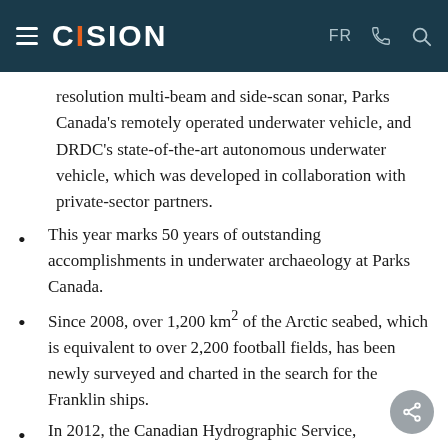CISION
resolution multi-beam and side-scan sonar, Parks Canada's remotely operated underwater vehicle, and DRDC's state-of-the-art autonomous underwater vehicle, which was developed in collaboration with private-sector partners.
This year marks 50 years of outstanding accomplishments in underwater archaeology at Parks Canada.
Since 2008, over 1,200 km² of the Arctic seabed, which is equivalent to over 2,200 football fields, has been newly surveyed and charted in the search for the Franklin ships.
In 2012, the Canadian Hydrographic Service,